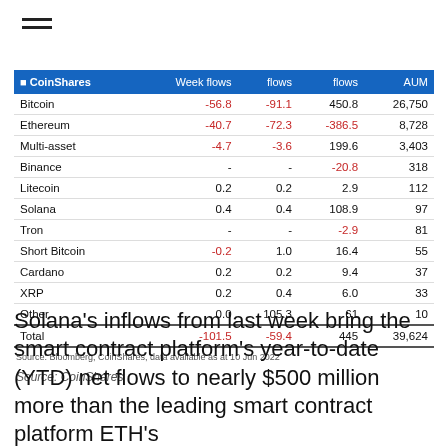| CoinShares | Week flows | flows | flows | AUM |
| --- | --- | --- | --- | --- |
| Bitcoin | -56.8 | -91.1 | 450.8 | 26,750 |
| Ethereum | -40.7 | -72.3 | -386.5 | 8,728 |
| Multi-asset | -4.7 | -3.6 | 199.6 | 3,403 |
| Binance | - | - | -20.8 | 318 |
| Litecoin | 0.2 | 0.2 | 2.9 | 112 |
| Solana | 0.4 | 0.4 | 108.9 | 97 |
| Tron | - | - | -2.9 | 81 |
| Short Bitcoin | -0.2 | 1.0 | 16.4 | 55 |
| Cardano | 0.2 | 0.2 | 9.4 | 37 |
| XRP | 0.2 | 0.4 | 6.0 | 33 |
| Other | 0.0 | 105.3 | 61 | 10 |
| Total | -101.5 | -59.4 | 445 | 39,624 |
Source: Bloomberg, CoinShares, data available as at 10 Jun 2022
Source: CoinShares
Solana's inflows from last week bring the smart contract platform's year-to-date (YTD) net flows to nearly $500 million more than the leading smart contract platform ETH's